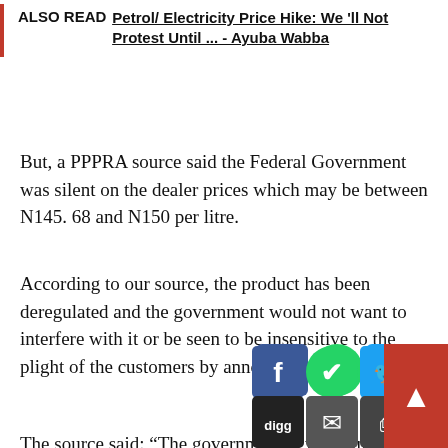ALSO READ  Petrol/ Electricity Price Hike: We 'll Not Protest Until ... - Ayuba Wabba
But, a PPPRA source said the Federal Government was silent on the dealer prices which may be between N145. 68 and N150 per litre.
According to our source, the product has been deregulated and the government would not want to interfere with it or be seen to be insensitive to the plight of the customers by announcing a price hike.
The source said: “The government is weighing the option of outright announcement of the increase of the dealer prices to a band of N150 per litre in the face of the cu... on the other hand has resisted the... tion of not interfering the market fundamentals which determine the